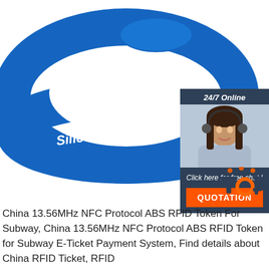[Figure (photo): Blue silicone RFID wristband with white text reading 'Silicone Wristband', with a 24/7 online chat widget overlay featuring a female customer service agent, and a QUOTATION button]
China 13.56MHz NFC Protocol ABS RFID Token For Subway, China 13.56MHz NFC Protocol ABS RFID Token for Subway E-Ticket Payment System, Find details about China RFID Ticket, RFID